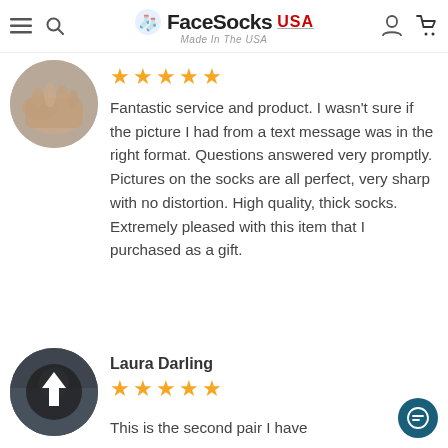FaceSocks USA — Made In The USA
[Figure (photo): Circular avatar photo of hands on a dark surface]
★★★★★
Fantastic service and product. I wasn't sure if the picture I had from a text message was in the right format. Questions answered very promptly. Pictures on the socks are all perfect, very sharp with no distortion. High quality, thick socks. Extremely pleased with this item that I purchased as a gift.
Laura Darling
★★★★★
[Figure (photo): Circular avatar photo of a person, partially visible, with an upload arrow overlay]
This is the second pair I have